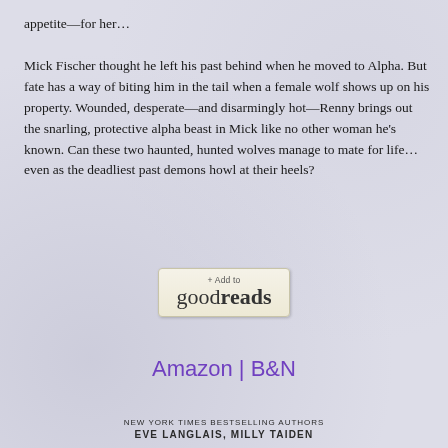appetite—for her…

Mick Fischer thought he left his past behind when he moved to Alpha. But fate has a way of biting him in the tail when a female wolf shows up on his property. Wounded, desperate—and disarmingly hot—Renny brings out the snarling, protective alpha beast in Mick like no other woman he's known. Can these two haunted, hunted wolves manage to mate for life…even as the deadliest past demons howl at their heels?
[Figure (logo): + Add to goodreads button]
Amazon | B&N
NEW YORK TIMES BESTSELLING AUTHORS
EVE LANGLAIS, MILLY TAIDEN